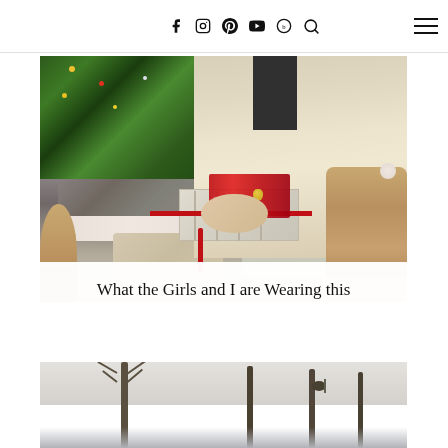Social media navigation icons: Facebook, Instagram, Pinterest, YouTube, Bloglovin, Search, Menu
[Figure (photo): Woman in cream cardigan wrapping a Christmas gift with red ribbon, surrounded by winter clothing (puffer jacket, mittens, UGG boots) in front of a decorated Christmas tree]
What the Girls and I are Wearing this Winter
[Figure (photo): Winter outdoor scene with bare trees in a snowy or overcast landscape]